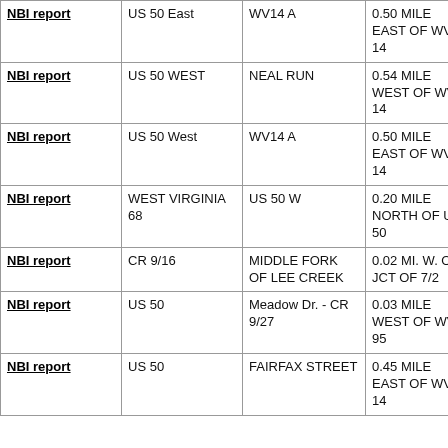| NBI report | US 50 East | WV14 A | 0.50 MILE EAST OF WV 14 | Concrete Stringer/M beam or girder |
| NBI report | US 50 WEST | NEAL RUN | 0.54 MILE WEST OF WV 14 | Prestress Stringer/M beam or girder |
| NBI report | US 50 West | WV14 A | 0.50 MILE EAST OF WV 14 | Concrete Stringer/M beam or girder |
| NBI report | WEST VIRGINIA 68 | US 50 W | 0.20 MILE NORTH OF US 50 | Steel Stringer/M beam or girder |
| NBI report | CR 9/16 | MIDDLE FORK OF LEE CREEK | 0.02 MI. W. OF JCT OF 7/2 | Metal Cul |
| NBI report | US 50 | Meadow Dr. - CR 9/27 | 0.03 MILE WEST OF WV 95 | Prestress Stringer/M beam or girder |
| NBI report | US 50 | FAIRFAX STREET | 0.45 MILE EAST OF WV 14 | Concrete Stringer/M beam or girder |